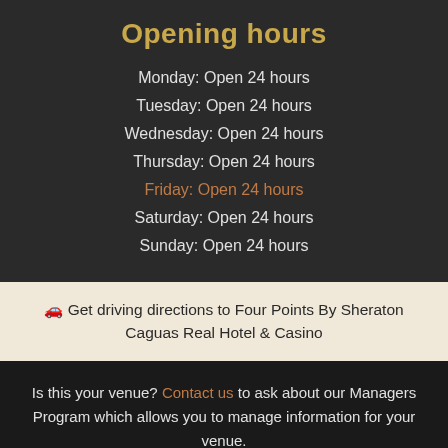Opening hours
Monday: Open 24 hours
Tuesday: Open 24 hours
Wednesday: Open 24 hours
Thursday: Open 24 hours
Friday: Open 24 hours
Saturday: Open 24 hours
Sunday: Open 24 hours
Get driving directions to Four Points By Sheraton Caguas Real Hotel & Casino
Is this your venue? Contact us to ask about our Managers Program which allows you to manage information for your venue.